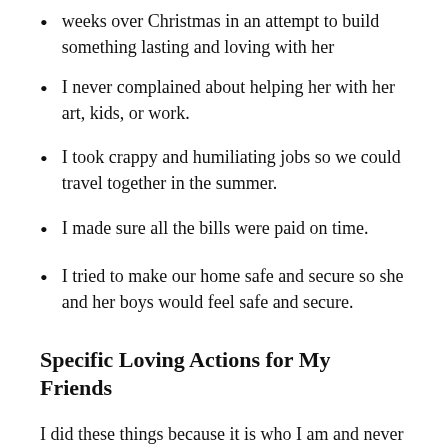weeks over Christmas in an attempt to build something lasting and loving with her
I never complained about helping her with her art, kids, or work.
I took crappy and humiliating jobs so we could travel together in the summer.
I made sure all the bills were paid on time.
I tried to make our home safe and secure so she and her boys would feel safe and secure.
Specific Loving Actions for My Friends
I did these things because it is who I am and never asked or expected anything in return.
For example, I was an enormous supporter of a local